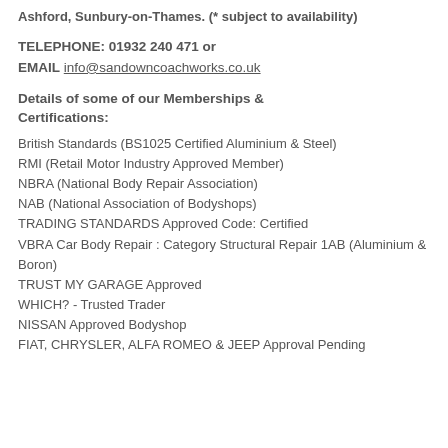Ashford, Sunbury-on-Thames. (* subject to availability)
TELEPHONE: 01932 240 471 or EMAIL info@sandowncoachworks.co.uk
Details of some of our Memberships & Certifications:
British Standards (BS1025 Certified Aluminium & Steel)
RMI (Retail Motor Industry Approved Member)
NBRA (National Body Repair Association)
NAB (National Association of Bodyshops)
TRADING STANDARDS Approved Code: Certified
VBRA Car Body Repair : Category Structural Repair 1AB (Aluminium & Boron)
TRUST MY GARAGE Approved
WHICH? - Trusted Trader
NISSAN Approved Bodyshop
FIAT, CHRYSLER, ALFA ROMEO & JEEP Approval Pending